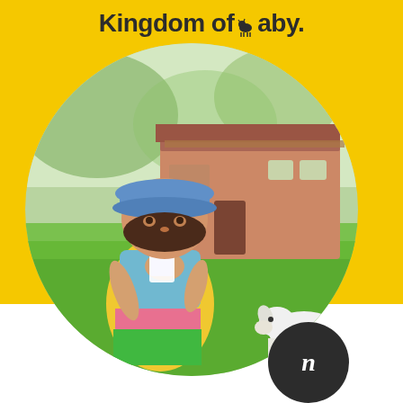Kingdom of Baby.
[Figure (photo): Child wearing a blue sun hat drinking milk from a glass jar, sitting on grass outdoors. A white goat grazes in the background to the right. A reddish-brown house is visible in the blurred background. Photo is cropped in a large circle shape.]
[Figure (logo): Dark circular badge with italic script text in white, partially visible at bottom right corner of page.]